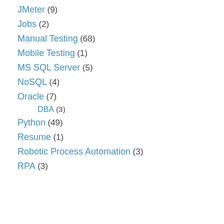JMeter (9)
Jobs (2)
Manual Testing (68)
Mobile Testing (1)
MS SQL Server (5)
NoSQL (4)
Oracle (7)
DBA (3)
Python (49)
Resume (1)
Robotic Process Automation (3)
RPA (3)